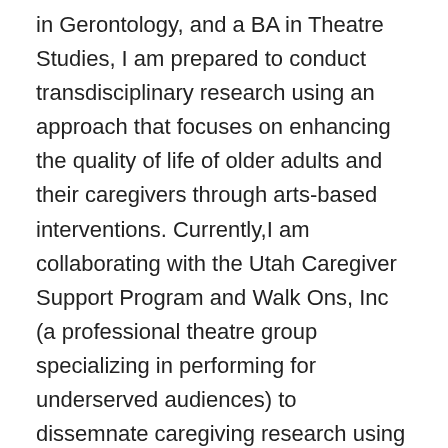in Gerontology, and a BA in Theatre Studies, I am prepared to conduct transdisciplinary research using an approach that focuses on enhancing the quality of life of older adults and their caregivers through arts-based interventions. Currently,I am collaborating with the Utah Caregiver Support Program and Walk Ons, Inc (a professional theatre group specializing in performing for underserved audiences) to dissemnate caregiving research using professional performaces of an ethnodrama created in partnership with informal family caregivers. This intervention builds on the work I completed with nursing students and long term care residents to use ethnodrama in an effort to improve attitudes about older adults and aging. I recently received funding to work with certified nursing assistants (CNAs) to revise and implement a creative caregiving toolkit in long term care facilities. Our goal is to identify